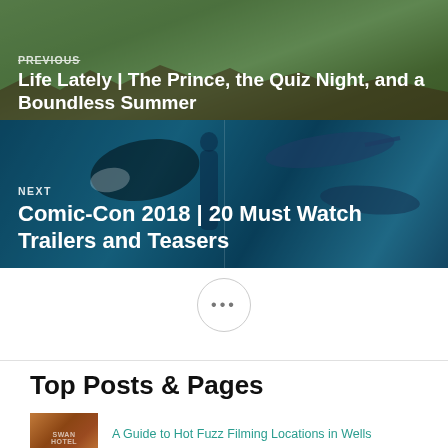[Figure (photo): Navigation block showing previous article: 'Life Lately | The Prince, the Quiz Night, and a Boundless Summer' over a green/nature background photo]
[Figure (photo): Navigation block showing next article: 'Comic-Con 2018 | 20 Must Watch Trailers and Teasers' over an Aquaman/underwater themed blue image with sharks]
•••
Top Posts & Pages
[Figure (photo): Thumbnail image of Swan Hotel building in Wells, terracotta/brick colored]
A Guide to Hot Fuzz Filming Locations in Wells